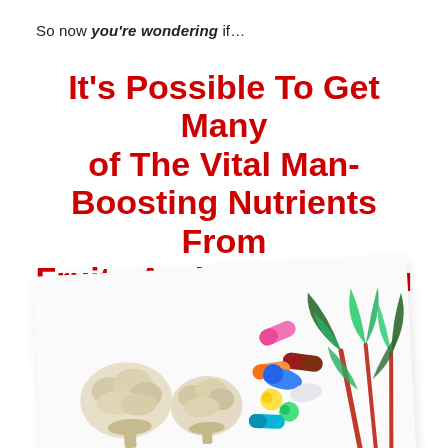So now you're wondering if…
It's Possible To Get Many of The Vital Man-Boosting Nutrients From Fruits And Veggies You Need To Turbocharge Your Masculinity…
[Figure (photo): Photo of cauliflower florets and colorful supplement capsules/pills next to green leafy vegetables (chard/beet greens), arranged on a white background, slightly tilted.]